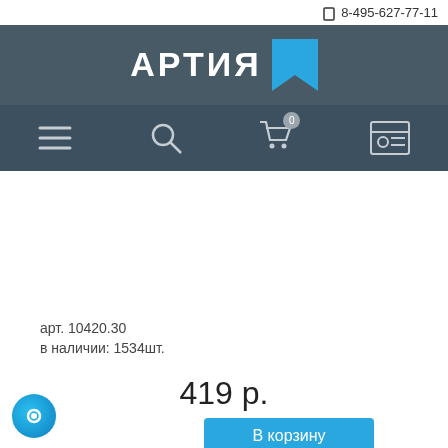8-495-627-77-11
[Figure (logo): Артия logo with bookmark icon on dark teal/grey header bar]
[Figure (infographic): Navigation bar with hamburger menu, search, cart (0), and account icons]
арт. 10420.30
в наличии: 1534шт.
419 р.
В корзину